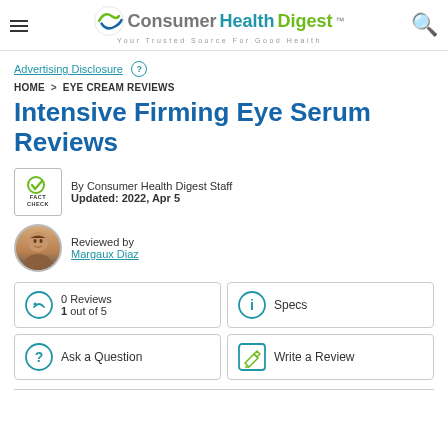Consumer Health Digest™ — Your Trusted Source For Good Health
Advertising Disclosure ?
HOME > EYE CREAM REVIEWS
Intensive Firming Eye Serum Reviews
By Consumer Health Digest Staff
Updated: 2022, Apr 5
Reviewed by
Margaux Diaz
0 Reviews
1 out of 5
Specs
Ask a Question
Write a Review